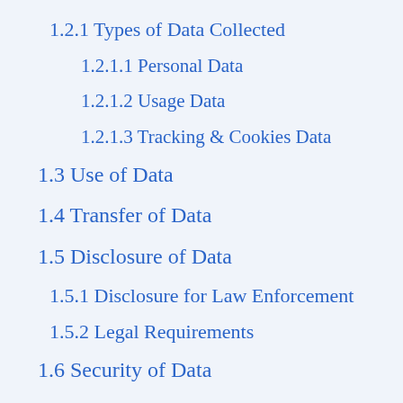1.2.1 Types of Data Collected
1.2.1.1 Personal Data
1.2.1.2 Usage Data
1.2.1.3 Tracking & Cookies Data
1.3 Use of Data
1.4 Transfer of Data
1.5 Disclosure of Data
1.5.1 Disclosure for Law Enforcement
1.5.2 Legal Requirements
1.6 Security of Data
1.7 Service Providers
1.7.1 Analytics